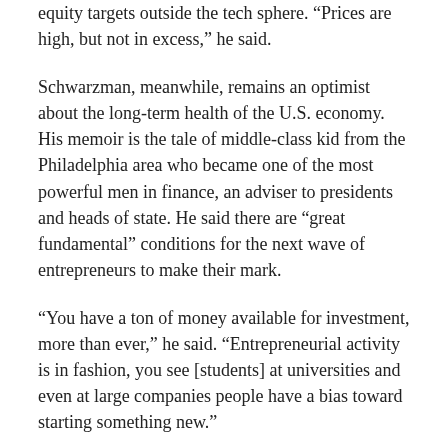equity targets outside the tech sphere. “Prices are high, but not in excess,” he said.
Schwarzman, meanwhile, remains an optimist about the long-term health of the U.S. economy. His memoir is the tale of middle-class kid from the Philadelphia area who became one of the most powerful men in finance, an adviser to presidents and heads of state. He said there are “great fundamental” conditions for the next wave of entrepreneurs to make their mark.
“You have a ton of money available for investment, more than ever,” he said. “Entrepreneurial activity is in fashion, you see [students] at universities and even at large companies people have a bias toward starting something new.”